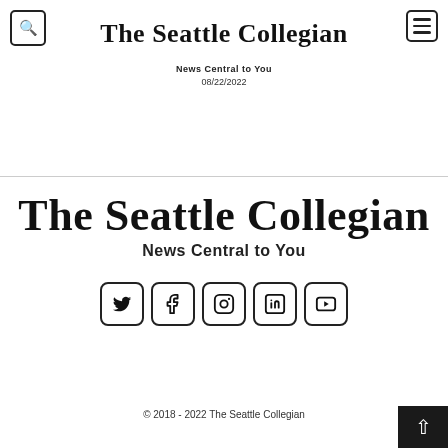The Seattle Collegian — News Central to You — 08/22/2022
[Figure (logo): The Seattle Collegian newspaper logo with tagline 'News Central to You' in large blackletter font]
[Figure (infographic): Social media icons: Twitter, Facebook, Instagram, LinkedIn, YouTube]
© 2018 - 2022 The Seattle Collegian